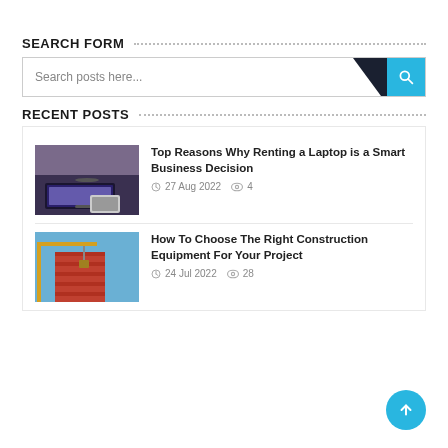SEARCH FORM
[Figure (screenshot): Search bar input with placeholder text 'Search posts here...' and a blue search button with magnifying glass icon on the right, with a dark diagonal accent]
RECENT POSTS
[Figure (photo): Photo of a laptop and tablet on a wooden desk]
Top Reasons Why Renting a Laptop is a Smart Business Decision
27 Aug 2022  4
[Figure (photo): Photo of a construction crane lifting materials at a building site]
How To Choose The Right Construction Equipment For Your Project
24 Jul 2022  28